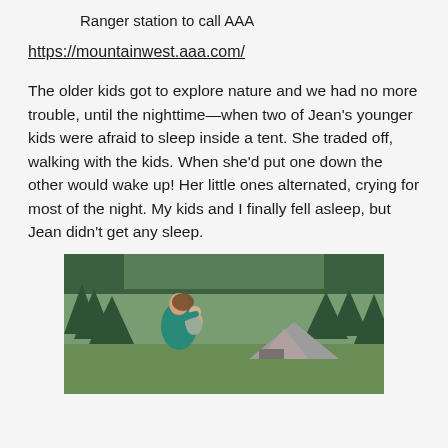Ranger station to call AAA
https://mountainwest.aaa.com/
The older kids got to explore nature and we had no more trouble, until the nighttime—when two of Jean's younger kids were afraid to sleep inside a tent. She traded off, walking with the kids. When she'd put one down the other would wake up! Her little ones alternated, crying for most of the night. My kids and I finally fell asleep, but Jean didn't get any sleep.
[Figure (photo): A woman in a teal shirt holding a baby near a camping tent in a forested mountainous area]